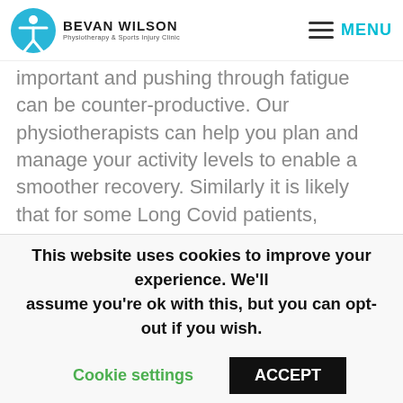Bevan Wilson Physiotherapy & Sports Injury Clinic — MENU
important and pushing through fatigue can be counter-productive. Our physiotherapists can help you plan and manage your activity levels to enable a smoother recovery. Similarly it is likely that for some Long Covid patients, recovery will take much longer and require support, advice, specialist treatment and a multi-disciplinary Team approach. The NHS is setting up Long Covid clinics around the UK, however some already have long waiting lists which may delay access to vital assessment, treatment, guidance and
This website uses cookies to improve your experience. We'll assume you're ok with this, but you can opt-out if you wish.
Cookie settings   ACCEPT